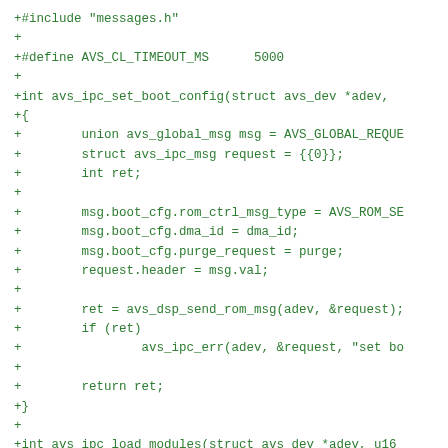[Figure (other): Source code diff showing C code additions: #include messages.h, #define AVS_CL_TIMEOUT_MS 5000, avs_ipc_set_boot_config function, and beginning of avs_ipc_load_modules function]